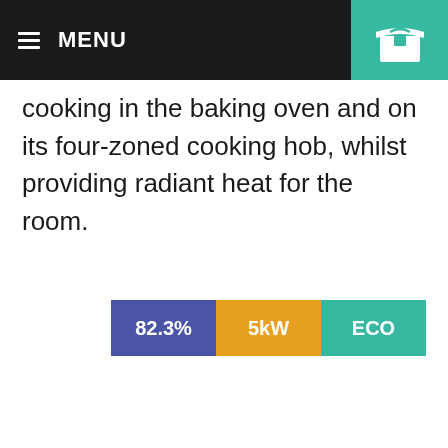MENU
cooking in the baking oven and on its four-zoned cooking hob, whilst providing radiant heat for the room.
[Figure (infographic): Three colored badge labels side by side: blue badge showing '82.3%', orange badge showing '5kW', teal badge showing 'ECO']